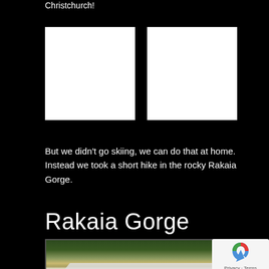Christchurch!
[Figure (photo): White placeholder image box 1]
[Figure (photo): White placeholder image box 2]
But we didn't go skiing, we can do that at home. Instead we took a short hike in the rocky Rakaia Gorge.
Rakaia Gorge
[Figure (photo): Aerial photograph of Rakaia Gorge showing a winding road through forested rocky terrain with a bridge visible]
[Figure (logo): reCAPTCHA badge with Privacy and Terms text]